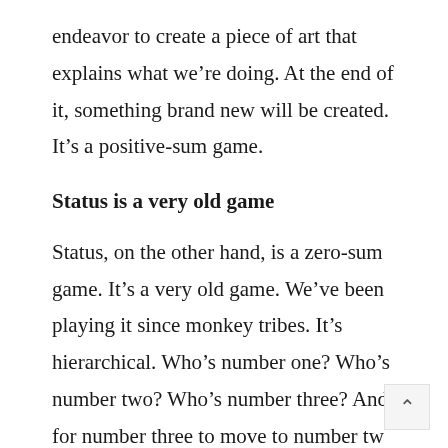endeavor to create a piece of art that explains what we're doing. At the end of it, something brand new will be created. It's a positive-sum game.
Status is a very old game
Status, on the other hand, is a zero-sum game. It's a very old game. We've been playing it since monkey tribes. It's hierarchical. Who's number one? Who's number two? Who's number three? And for number three to move to number tw number two has to move out of that slot.